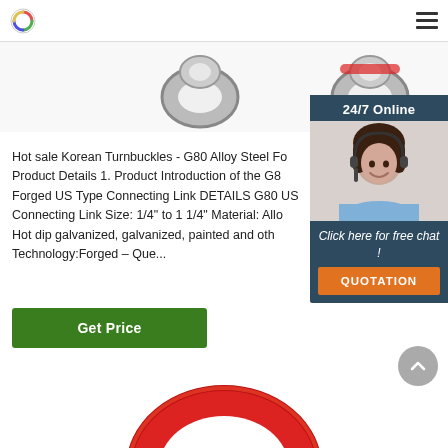[Figure (photo): Two metallic chain connecting link hardware products shown at top of page, one plain silver and one with red accent]
Hot sale Korean Turnbuckles - G80 Alloy Steel Fo Product Details 1. Product Introduction of the G8 Forged US Type Connecting Link DETAILS G80 US Connecting Link Size: 1/4" to 1 1/4" Material: Allo Hot dip galvanized, galvanized, painted and oth Technology:Forged – Que...
[Figure (photo): 24/7 Online chat widget with photo of female customer service representative wearing headset, with 'Click here for free chat!' text and orange QUOTATION button]
[Figure (photo): Red oval ring / connecting link hardware product shown at bottom of page]
[Figure (other): Scroll to top circular button with upward chevron arrow]